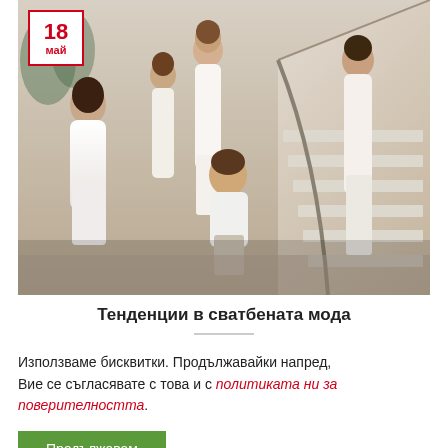[Figure (photo): Wedding fashion photo: a man in white shirt surrounded by female models in white wedding dresses on a staircase setting. A red-bordered date badge shows '18 май' in the top-left corner.]
Тенденции в сватбената мода
Използваме бисквитки. Продължавайки напред, Вие се съгласявате с това и с политиката ни за поверителност.
Продължавам